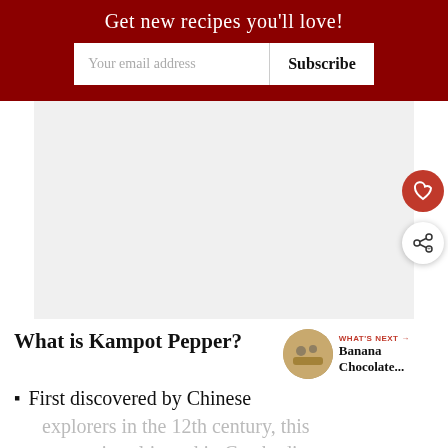Get new recipes you'll love!
[Figure (other): White rectangular image area placeholder]
What is Kampot Pepper?
[Figure (photo): Thumbnail image of Banana Chocolate... recipe with WHAT'S NEXT label]
First discovered by Chinese explorers in the 12th century, this pepper is cultivated in Cambodia...